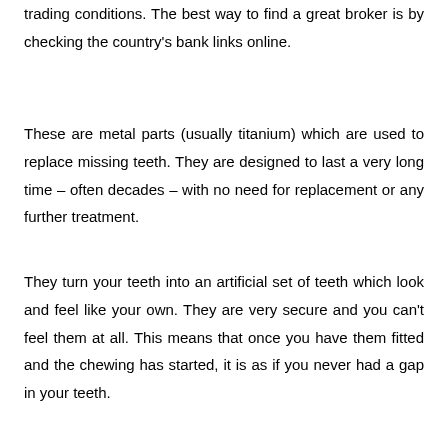trading conditions. The best way to find a great broker is by checking the country's bank links online.
These are metal parts (usually titanium) which are used to replace missing teeth. They are designed to last a very long time – often decades – with no need for replacement or any further treatment.
They turn your teeth into an artificial set of teeth which look and feel like your own. They are very secure and you can't feel them at all. This means that once you have them fitted and the chewing has started, it is as if you never had a gap in your teeth.